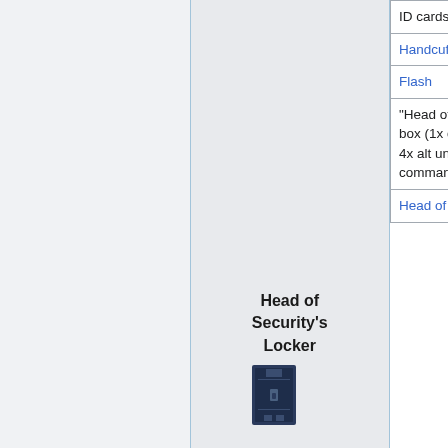| Item | Quantity |
| --- | --- |
| ID cards) |  |
| Handcuffs | 1 |
| Flash | 1 |
| "Head of Security's clothing" box (1x default HoS uniform, 4x alt uniforms, and 1x command winter jacket) | 1 |
| Head of Security's | 1 |
Head of Security's Locker